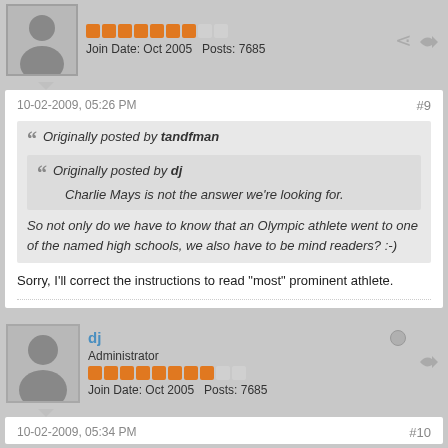Join Date: Oct 2005   Posts: 7685
10-02-2009, 05:26 PM
#9
Originally posted by tandfman
Originally posted by dj
Charlie Mays is not the answer we're looking for.
So not only do we have to know that an Olympic athlete went to one of the named high schools, we also have to be mind readers? :-)
Sorry, I'll correct the instructions to read "most" prominent athlete.
dj
Administrator
Join Date: Oct 2005   Posts: 7685
10-02-2009, 05:34 PM
#10